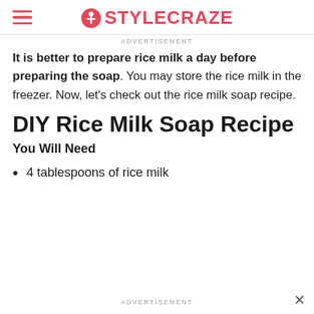STYLECRAZE
ADVERTISEMENT
It is better to prepare rice milk a day before preparing the soap. You may store the rice milk in the freezer. Now, let's check out the rice milk soap recipe.
DIY Rice Milk Soap Recipe
You Will Need
4 tablespoons of rice milk
ADVERTISEMENT